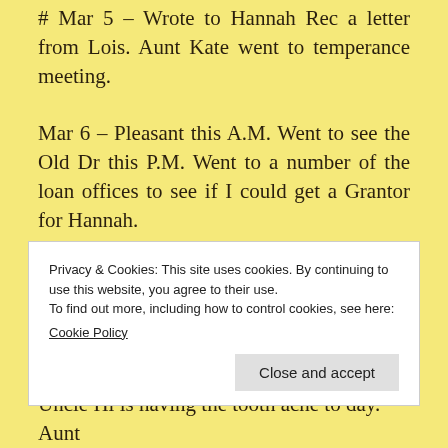# Mar 5 – Wrote to Hannah Rec a letter from Lois. Aunt Kate went to temperance meeting.
Mar 6 – Pleasant this A.M. Went to see the Old Dr this P.M. Went to a number of the loan offices to see if I could get a Grantor for Hannah.
X Mar 7 – Wrote to J. P. Keith.[52] Have got a sore throat.
Privacy & Cookies: This site uses cookies. By continuing to use this website, you agree to their use.
To find out more, including how to control cookies, see here:
Cookie Policy
Uncle Hi is having the tooth ache to day. Aunt